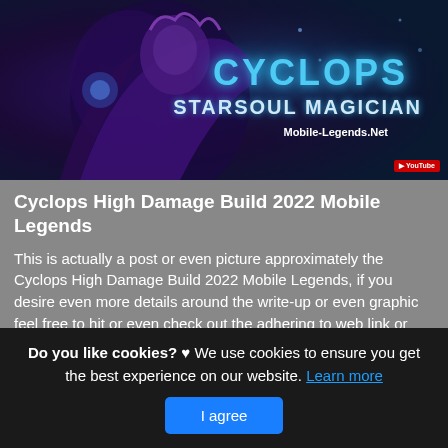[Figure (illustration): Game character artwork for Cyclops - Starsoul Magician from Mobile Legends, with text overlay showing 'CYCLOPS', 'STARSOUL MAGICIAN', 'Mobile-Legends.Net' and a YouTube badge in the corner.]
Cyclops High Damage Build 2022 Mobile Legends
This is actually a post or even picture approximately the Cyclops High Damage Build 2022 Mobile Legends, if you desire even more details around the write-up or even graphic feel free to hit or even check out the adhering to web link or even web link .
(Read More)
Source: mobile-legends.net Visit Web
Do you like cookies? ♥ We use cookies to ensure you get the best experience on our website. Learn more
I agree